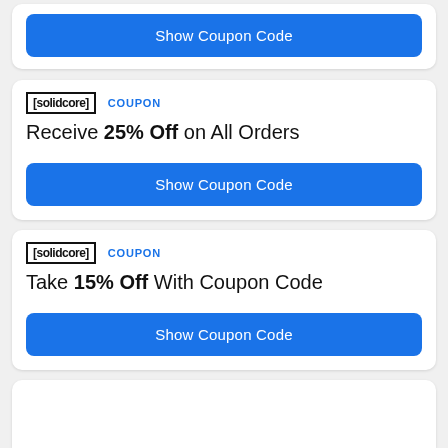Show Coupon Code
[solidcore] COUPON
Receive 25% Off on All Orders
Show Coupon Code
[solidcore] COUPON
Take 15% Off With Coupon Code
Show Coupon Code